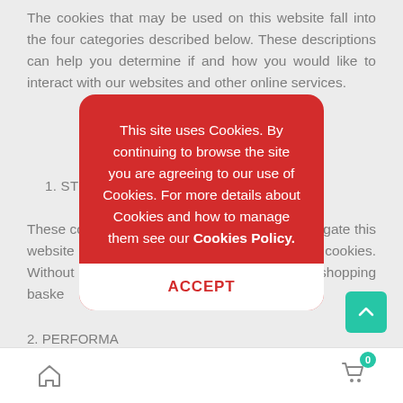The cookies that may be used on this website fall into the four categories described below. These descriptions can help you determine if and how you would like to interact with our websites and other online services.
1. STRICTLY NECESSARY COOKIES
These cookies are essential to allow you to navigate this website and use these strictly necessary cookies. Without being asked for, like shopping baskets or without, cannot be provided.
2. PERFORMANCE...
We (or service ...) may place our performance co... ation collected
[Figure (screenshot): Cookie consent modal overlay on a webpage. Red rounded rectangle modal containing white text: 'This site uses Cookies. By continuing to browse the site you are agreeing to our use of Cookies. For more details about Cookies and how to manage them see our Cookies Policy.' with a white ACCEPT button at the bottom. Below the modal is a bottom navigation bar with a home icon on the left and a shopping cart icon with a '0' badge on the right. A teal scroll-to-top arrow button is visible on the right side.]